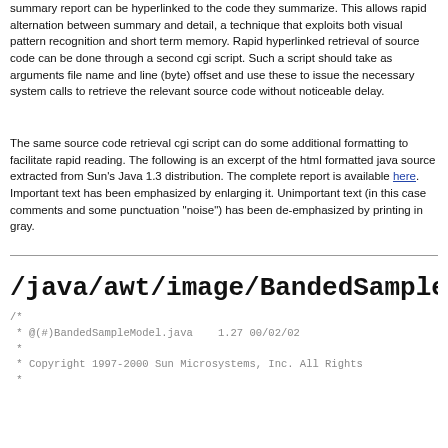summary report can be hyperlinked to the code they summarize. This allows rapid alternation between summary and detail, a technique that exploits both visual pattern recognition and short term memory. Rapid hyperlinked retrieval of source code can be done through a second cgi script. Such a script should take as arguments file name and line (byte) offset and use these to issue the necessary system calls to retrieve the relevant source code without noticeable delay.
The same source code retrieval cgi script can do some additional formatting to facilitate rapid reading. The following is an excerpt of the html formatted java source extracted from Sun's Java 1.3 distribution. The complete report is available here. Important text has been emphasized by enlarging it. Unimportant text (in this case comments and some punctuation "noise") has been de-emphasized by printing in gray.
/java/awt/image/BandedSampleM
/*
 * @(#)BandedSampleModel.java    1.27 00/02/02
 *
 * Copyright 1997-2000 Sun Microsystems, Inc. All Rights
 *